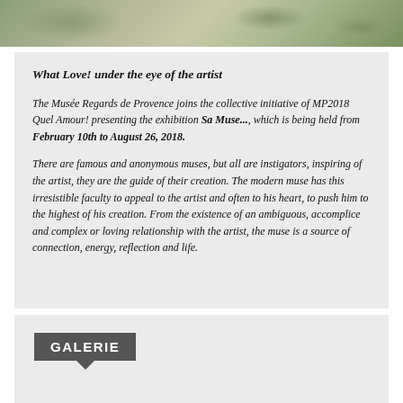[Figure (photo): A painting or artwork showing muted green, beige, and brown tones — partial view cropped at top of page]
What Love! under the eye of the artist
The Musée Regards de Provence joins the collective initiative of MP2018 Quel Amour! presenting the exhibition Sa Muse..., which is being held from February 10th to August 26, 2018.
There are famous and anonymous muses, but all are instigators, inspiring of the artist, they are the guide of their creation. The modern muse has this irresistible faculty to appeal to the artist and often to his heart, to push him to the highest of his creation. From the existence of an ambiguous, accomplice and complex or loving relationship with the artist, the muse is a source of connection, energy, reflection and life.
GALERIE